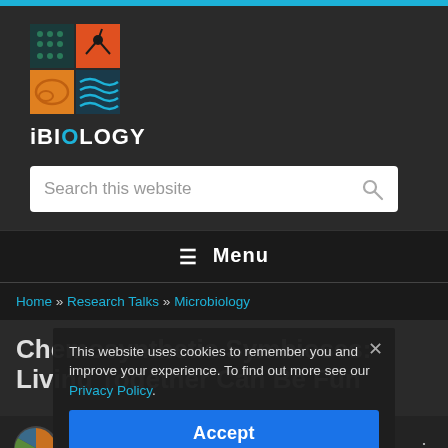[Figure (logo): iBiology logo: 2x2 grid with teal dots, orange square, orange/brown cell, blue wave pattern. Text 'iBIOLOGY' below with cyan O.]
Search this website
≡  Menu
Home » Research Talks » Microbiology
Chemosynthetic Symbioses: Living Together Can Be Fun
This website uses cookies to remember you and improve your experience. To find out more see our Privacy Policy.
Accept
Colleen Cavanaugh (Harvard): Ch...